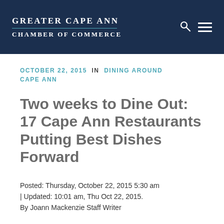Greater Cape Ann Chamber of Commerce
OCTOBER 22, 2015  IN  DINING AROUND CAPE ANN
Two weeks to Dine Out: 17 Cape Ann Restaurants Putting Best Dishes Forward
Posted: Thursday, October 22, 2015 5:30 am | Updated: 10:01 am, Thu Oct 22, 2015. By Joann Mackenzie Staff Writer